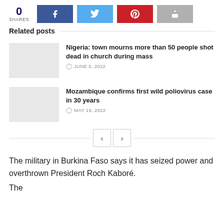0 SHARES
Related posts
Nigeria: town mourns more than 50 people shot dead in church during mass
JUNE 6, 2022
Mozambique confirms first wild poliovirus case in 30 years
MAY 19, 2022
The military in Burkina Faso says it has seized power and overthrown President Roch Kaboré.
The